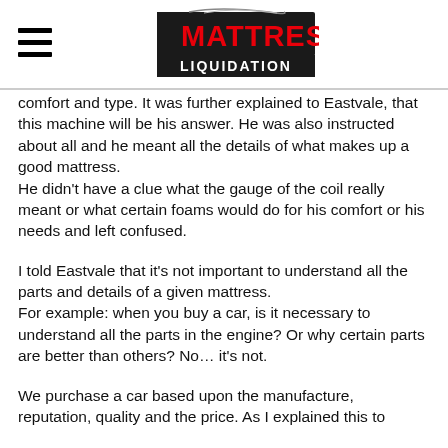Mattress Liquidation
comfort and type. It was further explained to Eastvale, that this machine will be his answer. He was also instructed about all and he meant all the details of what makes up a good mattress.
He didn't have a clue what the gauge of the coil really meant or what certain foams would do for his comfort or his needs and left confused.
I told Eastvale that it's not important to understand all the parts and details of a given mattress.
For example: when you buy a car, is it necessary to understand all the parts in the engine? Or why certain parts are better than others? No… it's not.
We purchase a car based upon the manufacture, reputation, quality and the price. As I explained this to